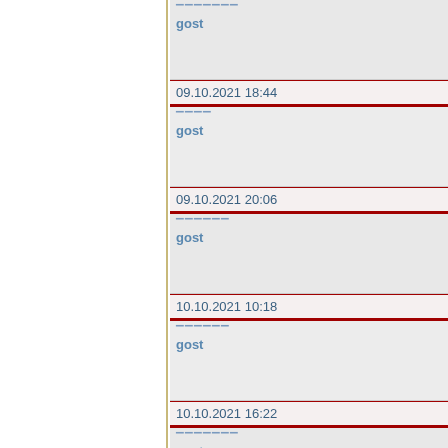gost
09.10.2021 18:44
gost
09.10.2021 20:06
gost
10.10.2021 10:18
gost
10.10.2021 16:22
gost